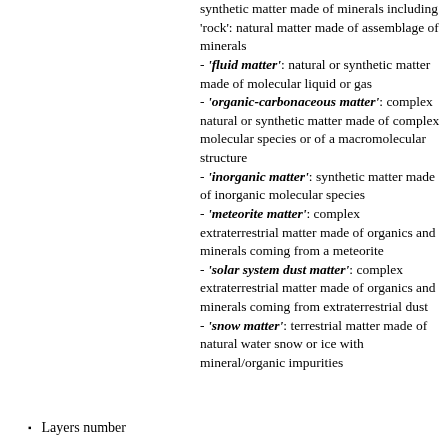synthetic matter made of minerals including 'rock': natural matter made of assemblage of minerals - 'fluid matter': natural or synthetic matter made of molecular liquid or gas - 'organic-carbonaceous matter': complex natural or synthetic matter made of complex molecular species or of a macromolecular structure - 'inorganic matter': synthetic matter made of inorganic molecular species - 'meteorite matter': complex extraterrestrial matter made of organics and minerals coming from a meteorite - 'solar system dust matter': complex extraterrestrial matter made of organics and minerals coming from extraterrestrial dust - 'snow matter': terrestrial matter made of natural water snow or ice with mineral/organic impurities
Layers number